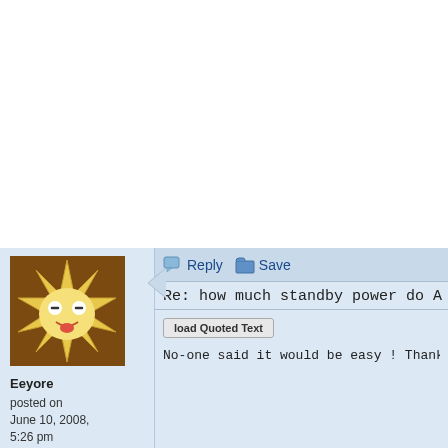[Figure (illustration): Forum post avatar: cartoon face with star/sun shape, brown background, silly face with crossed eyes and tongue out. User avatar for 'Eeyore'.]
Eeyore
posted on
June 10, 2008,
5:26 pm
Permalink
Reply   Save
Re: how much standby power do A
load Quoted Text
No-one said it would be easy ! Thank